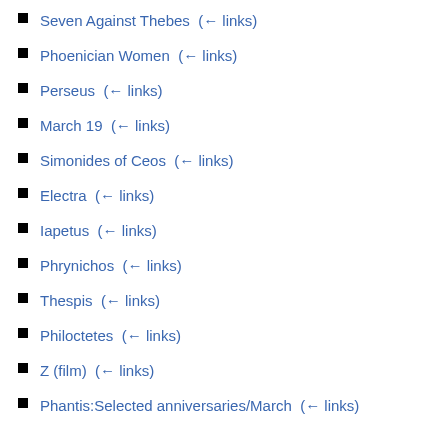Seven Against Thebes  (← links)
Phoenician Women  (← links)
Perseus  (← links)
March 19  (← links)
Simonides of Ceos  (← links)
Electra  (← links)
Iapetus  (← links)
Phrynichos  (← links)
Thespis  (← links)
Philoctetes  (← links)
Z (film)  (← links)
Phantis:Selected anniversaries/March  (← links)